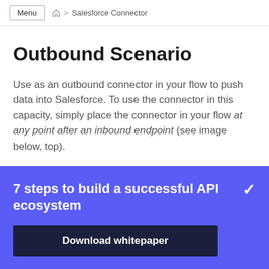Menu  🏠 > Salesforce Connector
Outbound Scenario
Use as an outbound connector in your flow to push data into Salesforce. To use the connector in this capacity, simply place the connector in your flow at any point after an inbound endpoint (see image below, top).
7 steps to build a successful API ecosystem
Download whitepaper